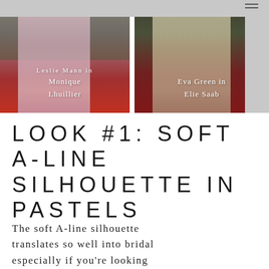[Figure (photo): Two side-by-side red carpet photos. Left: Leslie Mann in a pink ball gown by Monique Lhuillier, standing on a red carpet with green hedge background. Right: Eva Green in a champagne/lace gown by Elie Saab, on a red carpet.]
Leslie Mann in Monique Lhuillier
Eva Green in Elie Saab
LOOK #1: SOFT A-LINE SILHOUETTE IN PASTELS
The soft A-line silhouette translates so well into bridal especially if you're looking